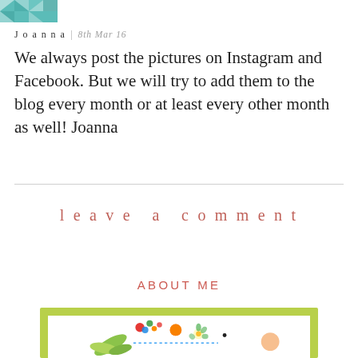[Figure (illustration): Decorative teal/green geometric quilt-pattern logo in the top-left corner]
Joanna  |  8th Mar 16
We always post the pictures on Instagram and Facebook. But we will try to add them to the blog every month or at least every other month as well! Joanna
leave a comment
ABOUT ME
[Figure (illustration): Colorful illustration of fruits, berries, and leaves inside a lime-green framed box for the About Me section]